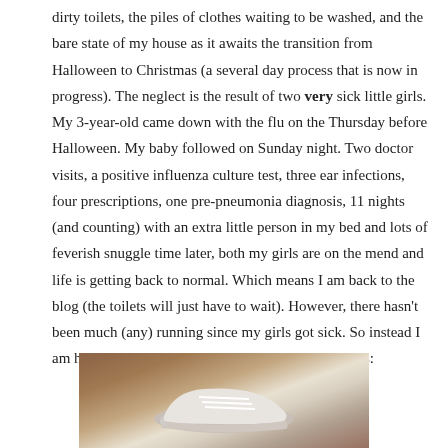dirty toilets, the piles of clothes waiting to be washed, and the bare state of my house as it awaits the transition from Halloween to Christmas (a several day process that is now in progress). The neglect is the result of two very sick little girls. My 3-year-old came down with the flu on the Thursday before Halloween. My baby followed on Sunday night. Two doctor visits, a positive influenza culture test, three ear infections, four prescriptions, one pre-pneumonia diagnosis, 11 nights (and counting) with an extra little person in my bed and lots of feverish snuggle time later, both my girls are on the mend and life is getting back to normal. Which means I am back to the blog (the toilets will just have to wait). However, there hasn't been much (any) running since my girls got sick. So instead I am here to introduce you to my new running buddies:
[Figure (photo): Photo of white running shoes on a brown/wooden surface]